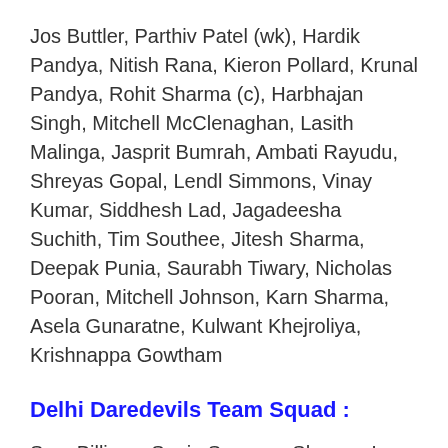Jos Buttler, Parthiv Patel (wk), Hardik Pandya, Nitish Rana, Kieron Pollard, Krunal Pandya, Rohit Sharma (c), Harbhajan Singh, Mitchell McClenaghan, Lasith Malinga, Jasprit Bumrah, Ambati Rayudu, Shreyas Gopal, Lendl Simmons, Vinay Kumar, Siddhesh Lad, Jagadeesha Suchith, Tim Southee, Jitesh Sharma, Deepak Punia, Saurabh Tiwary, Nicholas Pooran, Mitchell Johnson, Karn Sharma, Asela Gunaratne, Kulwant Khejroliya, Krishnappa Gowtham
Delhi Daredevils Team Squad :
Sam Billings, Sanju Samson, Shreyas Iyer, Karun Nair, Angelo Mathews, Chris Morris,